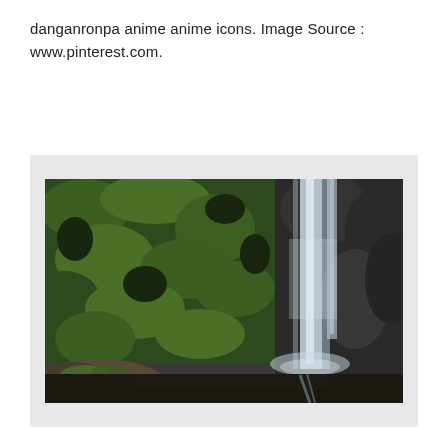danganronpa anime anime icons. Image Source : www.pinterest.com.
[Figure (photo): A nature photograph showing a tall waterfall cascading down a moss-covered rocky cliff face. The left side of the image is dominated by lush green moss and dark rocks. The waterfall flows from the upper right area of the frame. In the foreground at the bottom, there are large dark rocks partially submerged in dark water.]